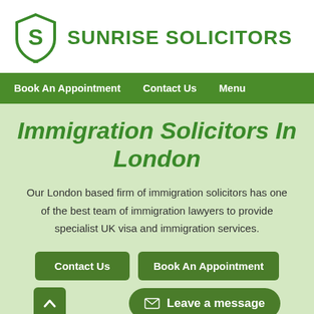[Figure (logo): Sunrise Solicitors shield logo with letter S]
SUNRISE SOLICITORS
Book An Appointment   Contact Us   Menu
Immigration Solicitors In London
Our London based firm of immigration solicitors has one of the best team of immigration lawyers to provide specialist UK visa and immigration services.
Contact Us   Book An Appointment
Leave a message